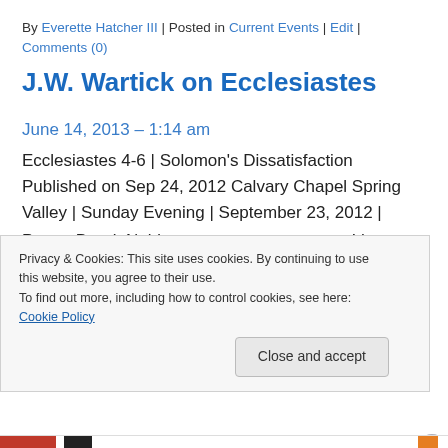By Everette Hatcher III | Posted in Current Events | Edit | Comments (0)
J.W. Wartick on Ecclesiastes
June 14, 2013 – 1:14 am
Ecclesiastes 4-6 | Solomon's Dissatisfaction Published on Sep 24, 2012 Calvary Chapel Spring Valley | Sunday Evening | September 23, 2012 | Pastor Derek Neider ____________________ I have written on the Book of Ecclesiastes and the subject of the meaning of our lives
Privacy & Cookies: This site uses cookies. By continuing to use this website, you agree to their use. To find out more, including how to control cookies, see here: Cookie Policy
Close and accept